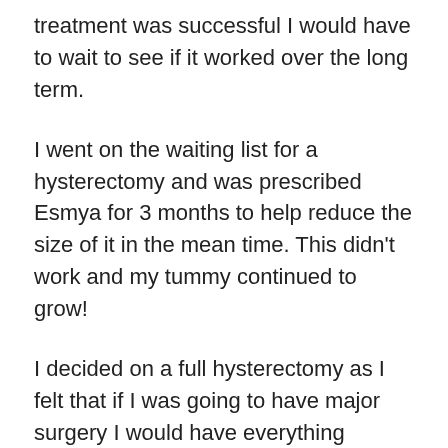treatment was successful I would have to wait to see if it worked over the long term.
I went on the waiting list for a hysterectomy and was prescribed Esmya for 3 months to help reduce the size of it in the mean time. This didn't work and my tummy continued to grow!
I decided on a full hysterectomy as I felt that if I was going to have major surgery I would have everything removed to avoid having possible further treatment in the future – a gamble I know.
In mid October 2014 I went in for surgery, coming out of hospital 2 days later to recuperate for 6 weeks before going back to work at the beginning